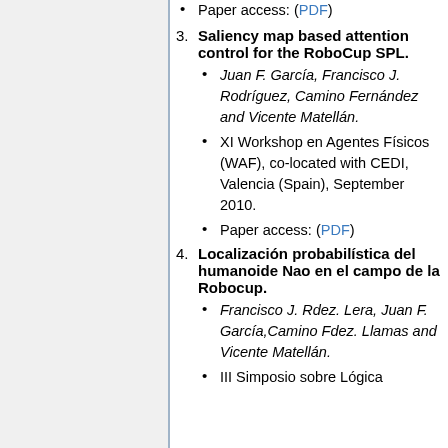Paper access: (PDF)
3. Saliency map based attention control for the RoboCup SPL.
Juan F. García, Francisco J. Rodríguez, Camino Fernández and Vicente Matellán.
XI Workshop en Agentes Físicos (WAF), co-located with CEDI, Valencia (Spain), September 2010.
Paper access: (PDF)
4. Localización probabilística del humanoide Nao en el campo de la Robocup.
Francisco J. Rdez. Lera, Juan F. García,Camino Fdez. Llamas and Vicente Matellán.
III Simposio sobre Lógica